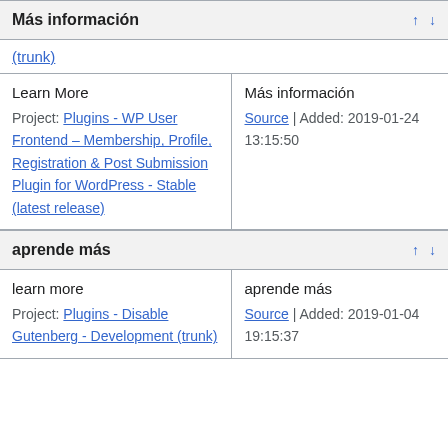Más información
(trunk)
| Learn More / Project | Más información / Source | Added |
| --- | --- |
| Learn More
Project: Plugins - WP User Frontend – Membership, Profile, Registration & Post Submission Plugin for WordPress - Stable (latest release) | Más información
Source | Added: 2019-01-24 13:15:50 |
aprende más
| learn more / Project | aprende más / Source | Added |
| --- | --- |
| learn more
Project: Plugins - Disable Gutenberg - Development (trunk) | aprende más
Source | Added: 2019-01-04 19:15:37 |